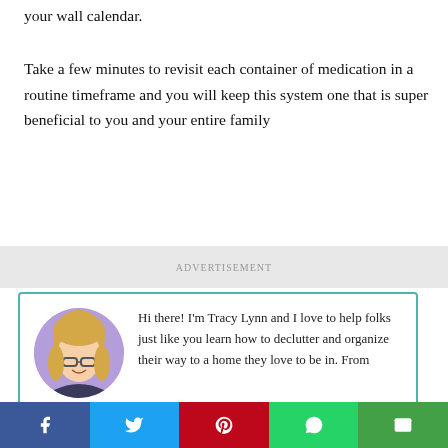your wall calendar.
Take a few minutes to revisit each container of medication in a routine timeframe and you will keep this system one that is super beneficial to you and your entire family
[Figure (other): Advertisement banner strip]
Hi there! I'm Tracy Lynn and I love to help folks just like you learn how to declutter and organize their way to a home they love to be in. From
Social share bar with Facebook, Twitter, Pinterest, WhatsApp, Email buttons